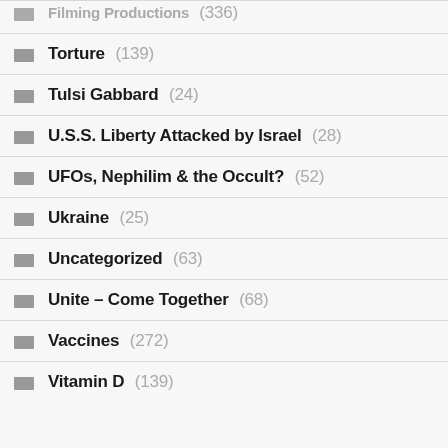Filming Productions (336)
Torture (139)
Tulsi Gabbard (24)
U.S.S. Liberty Attacked by Israel (28)
UFOs, Nephilim & the Occult? (52)
Ukraine (25)
Uncategorized (63)
Unite – Come Together (68)
Vaccines (272)
Vitamin D (139)